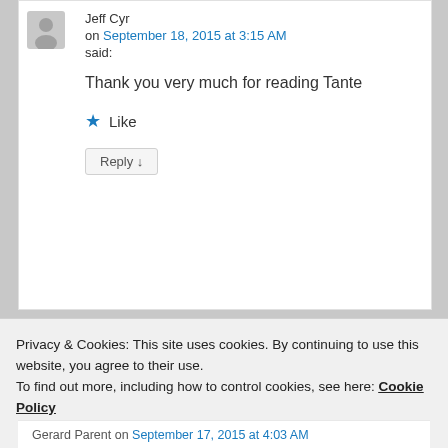Jeff Cyr
on September 18, 2015 at 3:15 AM
said:
Thank you very much for reading Tante
★ Like
Reply ↓
REPORT THIS AD
Privacy & Cookies: This site uses cookies. By continuing to use this website, you agree to their use.
To find out more, including how to control cookies, see here: Cookie Policy
Close and accept
Gerard Parent on September 17, 2015 at 4:03 AM